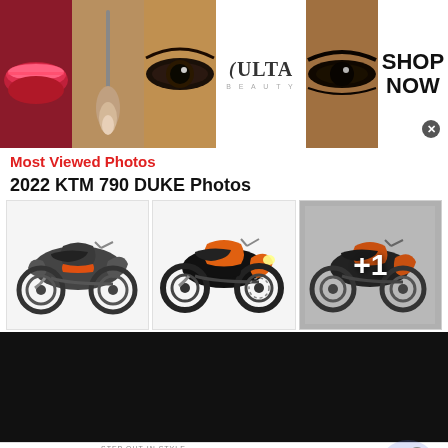[Figure (photo): Ulta Beauty advertisement banner with makeup imagery - lips, brush, eye, Ulta logo, eye closeup, and SHOP NOW button with X close]
Most Viewed Photos
2022 KTM 790 DUKE Photos
[Figure (photo): 2022 KTM 790 Duke motorcycle photo 1 - dark/grey colorway, side profile]
[Figure (photo): 2022 KTM 790 Duke motorcycle photo 2 - orange/black colorway, front-side view]
[Figure (photo): 2022 KTM 790 Duke motorcycle photo 3 - orange/black, with +1 overlay indicating more photos]
[Figure (screenshot): Black/dark content area below motorcycle photos]
[Figure (photo): Belk advertisement - Step out in style. www.belk.com with fashion thumbnails and arrow button]